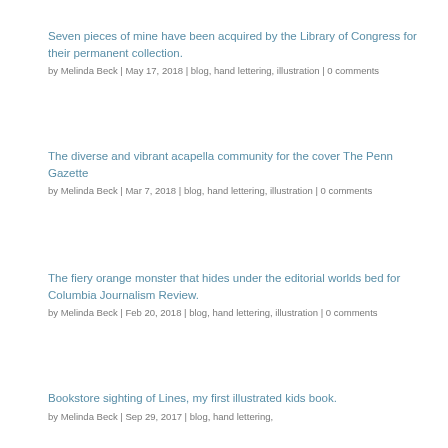Seven pieces of mine have been acquired by the Library of Congress for their permanent collection.
by Melinda Beck | May 17, 2018 | blog, hand lettering, illustration | 0 comments
The diverse and vibrant acapella community for the cover The Penn Gazette
by Melinda Beck | Mar 7, 2018 | blog, hand lettering, illustration | 0 comments
The fiery orange monster that hides under the editorial worlds bed for Columbia Journalism Review.
by Melinda Beck | Feb 20, 2018 | blog, hand lettering, illustration | 0 comments
Bookstore sighting of Lines, my first illustrated kids book.
by Melinda Beck | Sep 29, 2017 | blog, hand lettering,